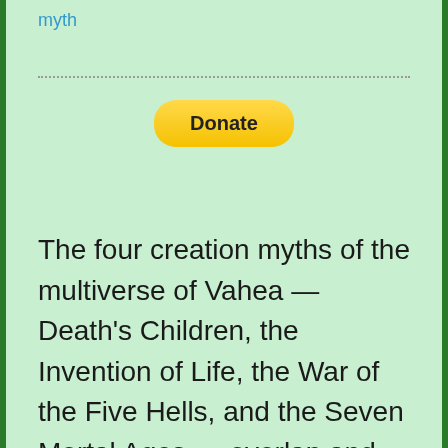myth
Donate
The four creation myths of the multiverse of Vahea — Death's Children, the Invention of Life, the War of the Five Hells, and the Seven Mortal Ages — overlap and intersect with one another. They